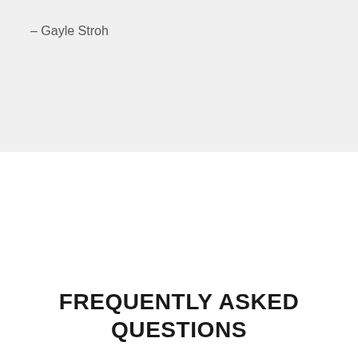– Gayle Stroh
FREQUENTLY ASKED QUESTIONS